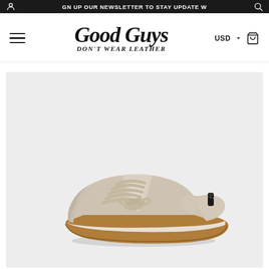GN UP OUR NEWSLETTER TO STAY UPDATE W
[Figure (logo): Good Guys Don't Wear Leather cursive logo with hamburger menu, USD currency selector, and cart icon]
[Figure (photo): Beige/taupe lace-up sneaker with gum rubber sole, side profile view, on light grey background. Brand: Good Guys Don't Wear Leather. Upper is light sand/stone suede-look material with matching laces and a small black pull tab at the heel.]